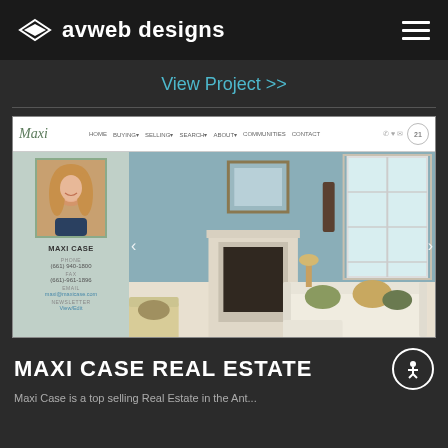avweb designs
View Project >>
[Figure (screenshot): Screenshot of Maxi Case real estate website showing navigation bar with HOME, BUYING, SELLING, SEARCH, ABOUT, COMMUNITIES, CONTACT links; left panel with agent photo, name MAXI CASE, phone (661) 940-1800, fax (661-961-1896), email, newsletter; right panel showing living room interior with fireplace, sofa, decorative pillows]
MAXI CASE REAL ESTATE
Maxi Case is a top selling Real Estate in the Ant...